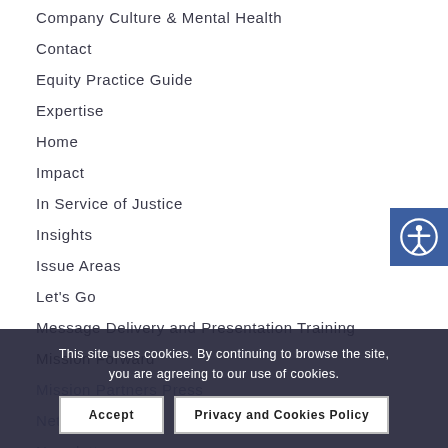Company Culture & Mental Health
Contact
Equity Practice Guide
Expertise
Home
Impact
In Service of Justice
Insights
Issue Areas
Let's Go
Message Delivery and Presentation Training
Mission Forward
Mission Partners Press
Network
Newsletter
Our Clients
Our Insights
This site uses cookies. By continuing to browse the site, you are agreeing to our use of cookies.
Accept
Privacy and Cookies Policy